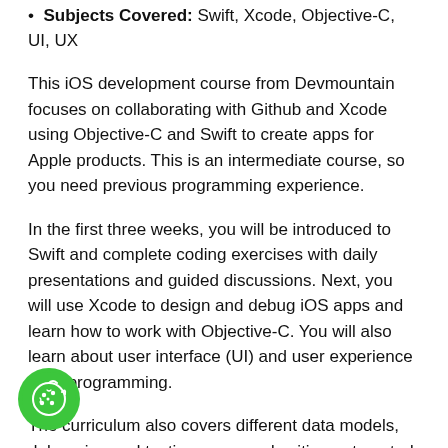Subjects Covered: Swift, Xcode, Objective-C, UI, UX
This iOS development course from Devmountain focuses on collaborating with Github and Xcode using Objective-C and Swift to create apps for Apple products. This is an intermediate course, so you need previous programming experience.
In the first three weeks, you will be introduced to Swift and complete coding exercises with daily presentations and guided discussions. Next, you will use Xcode to design and debug iOS apps and learn how to work with Objective-C. You will also learn about user interface (UI) and user experience (UX) programming.
The curriculum also covers different data models, debugging and testing apps, and writing automated testing tests. In the last two weeks, you will register as